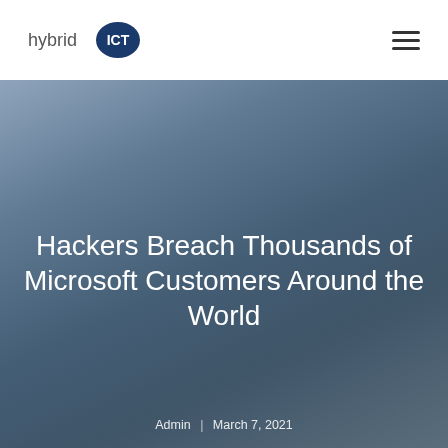hybrid ICT
[Figure (illustration): Hero background image with dark blue-grey gradient, overlaid with large white title text and byline at the bottom.]
Hackers Breach Thousands of Microsoft Customers Around the World
Admin | March 7, 2021